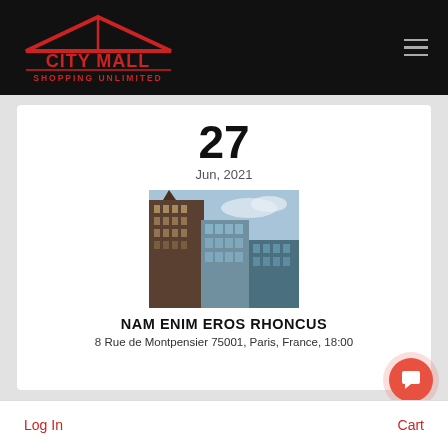CITY MALL SHOPPING UNLIMITED
27
Jun, 2021
[Figure (photo): Tall city skyscrapers viewed from below against a partly cloudy sky]
NAM ENIM EROS RHONCUS
8 Rue de Montpensier 75001, Paris, France, 18:00
Log In   Cart